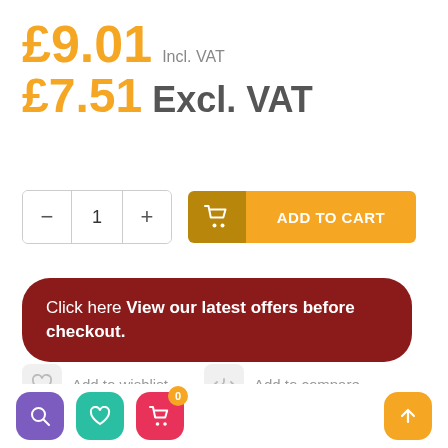£9.01 Incl. VAT
£7.51 Excl. VAT
− 1 + ADD TO CART
Click here View our latest offers before checkout.
Add to wishlist   Add to compare